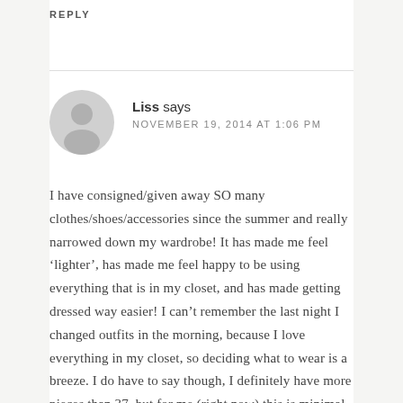REPLY
[Figure (illustration): Default user avatar - grey circle with silhouette of a person (head and shoulders)]
Liss says
NOVEMBER 19, 2014 AT 1:06 PM
I have consigned/given away SO many clothes/shoes/accessories since the summer and really narrowed down my wardrobe! It has made me feel ‘lighter’, has made me feel happy to be using everything that is in my closet, and has made getting dressed way easier! I can’t remember the last night I changed outfits in the morning, because I love everything in my closet, so deciding what to wear is a breeze. I do have to say though, I definitely have more pieces than 37, but for me (right now) this is minimal. My rule thumb is ‘Love it, Keep it,